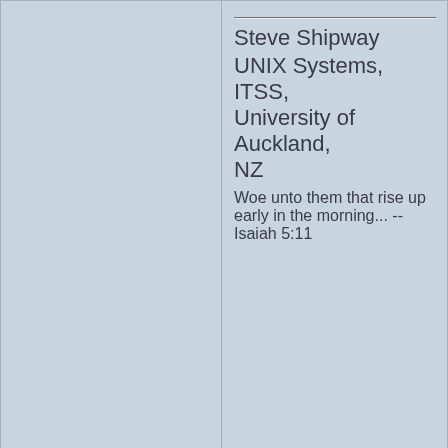Steve Shipway
UNIX Systems, ITSS, University of Auckland, NZ
Woe unto them that rise up early in the morning... -- Isaiah 5:11
Top
profile
pm
stevesh
Post subject:
Posted: Sat Dec 03, 2005 9:50 pm
offline
Site Admin
Joined: Tue Jul 29,
Steve Shipway